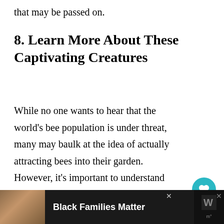that may be passed on.
8. Learn More About These Captivating Creatures
While no one wants to hear that the world's bee population is under threat, many may baulk at the idea of actually attracting bees into their garden. However, it's important to understand that, unlike wasps and hornets, bees are not aggressive and will not sting unless they feel under threat. By learning how to
[Figure (other): Heart/save button (teal circle with heart icon) with 58.6K count and share button below]
[Figure (other): Advertisement bar at bottom: Black Families Matter ad with image of smiling family and logo]